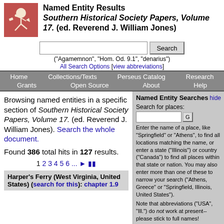[Figure (logo): Perseus Digital Library running figure logo on red/terracotta background]
Named Entity Results Southern Historical Society Papers, Volume 17. (ed. Reverend J. William Jones)
("Agamemnon", "Hom. Od. 9.1", "denarius")
All Search Options [view abbreviations]
Home   Collections/Texts   Perseus Catalog   Research   Grants   Open Source   About   Help
Browsing named entities in a specific section of Southern Historical Society Papers, Volume 17. (ed. Reverend J. William Jones). Search the whole document.
Found 386 total hits in 127 results.
1 2 3 4 5 6 ... ▶ ⏭
Harper's Ferry (West Virginia, United States) (search for this): chapter 1.9
Named Entity Searches
Search for places:
Enter the name of a place, like "Springfield" or "Athens", to find all locations matching the name, or enter a state ("Illinois") or country ("Canada") to find all places within that state or nation. You may also enter more than one of these to narrow your search ("Athens, Greece" or "Springfield, Illinois, United States").
Note that abbreviations ("USA", "Ill.") do not work at present--please stick to full names!